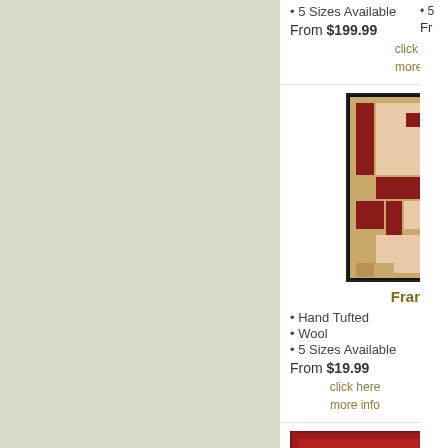5 Sizes Available
From $199.99
click here
more info
[Figure (photo): Franklin rug with geometric block pattern in tan, red, and beige tones with dark border]
Franklin
Hand Tufted
Wool
5 Sizes Available
From $19.99
click here
more info
[Figure (photo): Red ornate traditional rug with floral border pattern, partially visible at bottom]